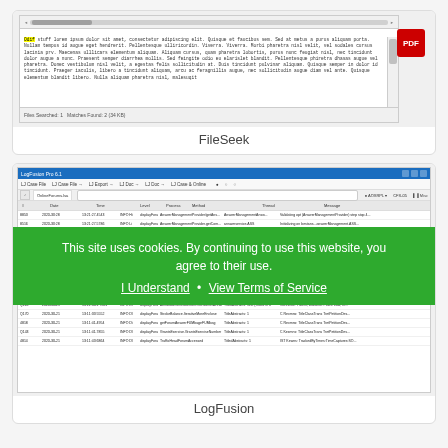[Figure (screenshot): FileSeek application screenshot showing text search results with a yellow highlighted match 'Odif' in a Lorem Ipsum text file, with a red PDF icon in the upper right]
FileSeek
[Figure (screenshot): LogFusion application screenshot showing a log viewer with multiple columns including #, Date, Time, Level, Process, Method, Thread, Message, with rows highlighted in blue and orange]
This site uses cookies. By continuing to use this website, you agree to their use.
I Understand · View Terms of Service
LogFusion